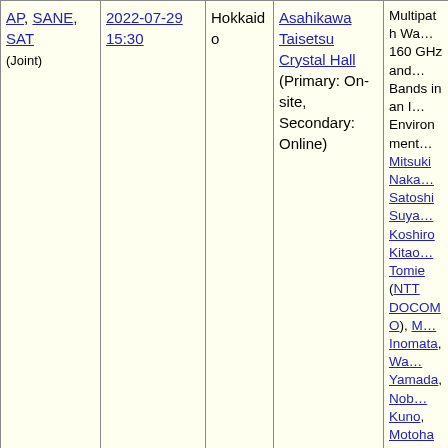| Session | Date/Time | Location | Venue | Paper Details |
| --- | --- | --- | --- | --- |
| AP, SANE, SAT (Joint) | 2022-07-29 15:30 | Hokkaido | Asahikawa Taisetsu Crystal Hall (Primary: On-site, Secondary: Online) | Multipath Wa... 160 GHz and... Bands in an I... Environment... Mitsuki Naka... Satoshi Suya... Koshiro Kitao... Tomie (NTT DOCOMO), M... Inomata, Wa... Yamada, Nob... Kuno, Motoha... (NTT) [PDF] AP202... |
| AP | 2022-03-10 09:55 | Online | Online | Path Loss Characteristi... 300 GHz ban... Urban Microc... Environment... Minoru Inoma... Wataru Yama... Nobuaki Kun... Motoharu Sa... (NTT), Mitsuk... Nakamura, K... Kitao, Takahi... |